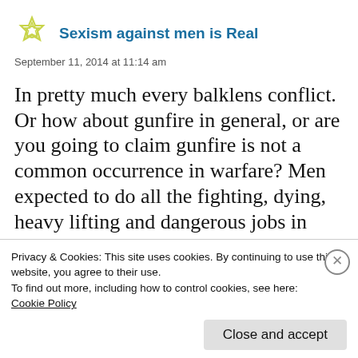Sexism against men is Real
September 11, 2014 at 11:14 am
In pretty much every balklens conflict. Or how about gunfire in general, or are you going to claim gunfire is not a common occurrence in warfare? Men expected to do all the fighting, dying, heavy lifting and dangerous jobs in society is not sexist? Clearly you have a sexist attitude with regards sexism
Privacy & Cookies: This site uses cookies. By continuing to use this website, you agree to their use.
To find out more, including how to control cookies, see here: Cookie Policy
Close and accept